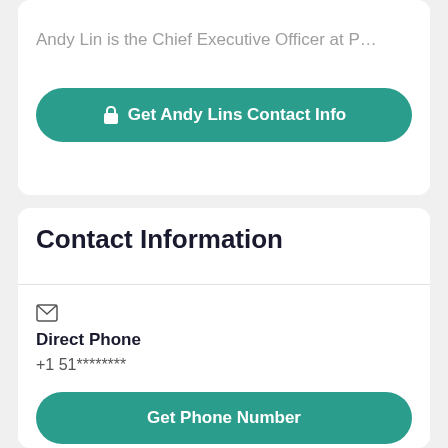Andy Lin is the Chief Executive Officer at P…
🔒 Get Andy Lins Contact Info
Contact Information
[Figure (illustration): Mail envelope icon]
Direct Phone
+1 51********
Get Phone Number